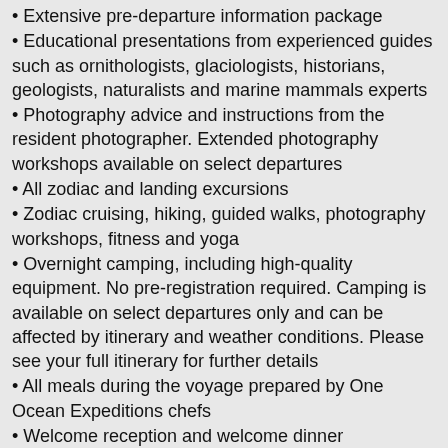Extensive pre-departure information package
Educational presentations from experienced guides such as ornithologists, glaciologists, historians, geologists, naturalists and marine mammals experts
Photography advice and instructions from the resident photographer. Extended photography workshops available on select departures
All zodiac and landing excursions
Zodiac cruising, hiking, guided walks, photography workshops, fitness and yoga
Overnight camping, including high-quality equipment. No pre-registration required. Camping is available on select departures only and can be affected by itinerary and weather conditions. Please see your full itinerary for further details
All meals during the voyage prepared by One Ocean Expeditions chefs
Welcome reception and welcome dinner
One Ocean Expeditions formally licensed and...